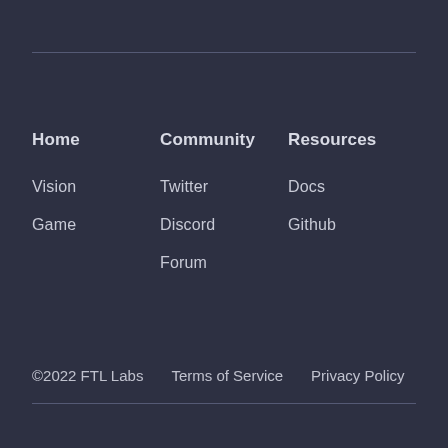Home
Community
Resources
Vision
Twitter
Docs
Game
Discord
Github
Forum
©2022 FTL Labs   Terms of Service   Privacy Policy